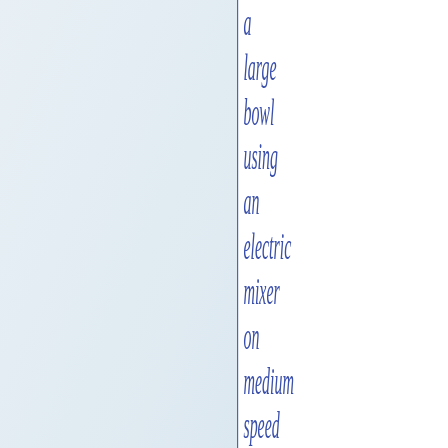a large bowl using an electric mixer on medium speed until light and fluffy, 3 to 6